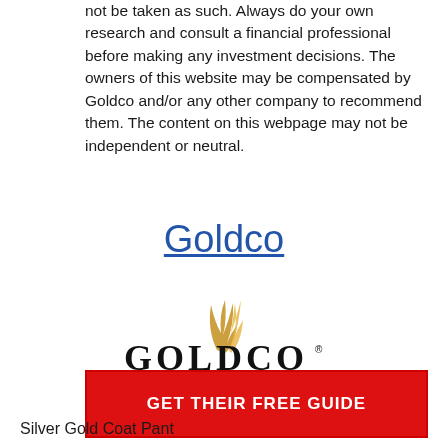not be taken as such. Always do your own research and consult a financial professional before making any investment decisions. The owners of this website may be compensated by Goldco and/or any other company to recommend them. The content on this webpage may not be independent or neutral.
Goldco
[Figure (logo): Goldco logo with golden flame/feather graphic above the text GOLDCO in black serif letters with a registered trademark symbol]
GET THEIR FREE GUIDE
Silver Gold Coat Pant